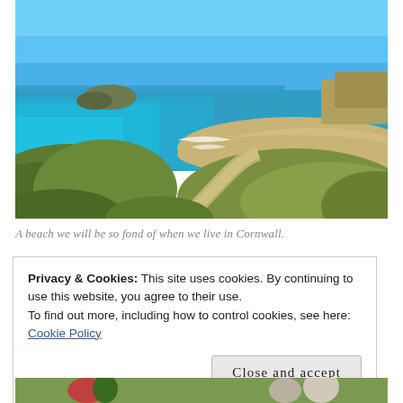[Figure (photo): Aerial/elevated view of a Cornish beach with turquoise sea, sandy shore, rocky headlands, green grassy cliffs, and a sandy path in the foreground under a bright blue sky.]
A beach we will be so fond of when we live in Cornwall.
Privacy & Cookies: This site uses cookies. By continuing to use this website, you agree to their use.
To find out more, including how to control cookies, see here:
Cookie Policy
Close and accept
[Figure (photo): Bottom partial photo showing people outdoors, partially visible.]